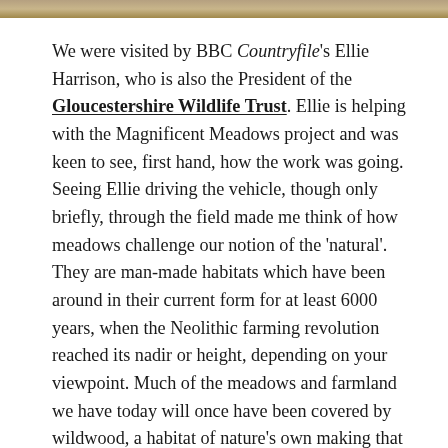[Figure (photo): Partial image strip at the top of the page, showing a blurred outdoor/nature scene.]
We were visited by BBC Countryfile's Ellie Harrison, who is also the President of the Gloucestershire Wildlife Trust. Ellie is helping with the Magnificent Meadows project and was keen to see, first hand, how the work was going. Seeing Ellie driving the vehicle, though only briefly, through the field made me think of how meadows challenge our notion of the 'natural'. They are man-made habitats which have been around in their current form for at least 6000 years, when the Neolithic farming revolution reached its nadir or height, depending on your viewpoint. Much of the meadows and farmland we have today will once have been covered by wildwood, a habitat of nature's own making that is lost to us in Britain thanks to thousands of years of deforestation by humans. Peterken